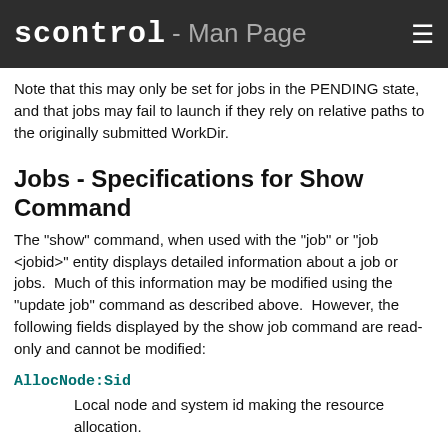scontrol - Man Page
Note that this may only be set for jobs in the PENDING state, and that jobs may fail to launch if they rely on relative paths to the originally submitted WorkDir.
Jobs - Specifications for Show Command
The "show" command, when used with the "job" or "job <jobid>" entity displays detailed information about a job or jobs.  Much of this information may be modified using the "update job" command as described above.  However, the following fields displayed by the show job command are read-only and cannot be modified:
AllocNode:Sid
Local node and system id making the resource allocation.
BatchFlag